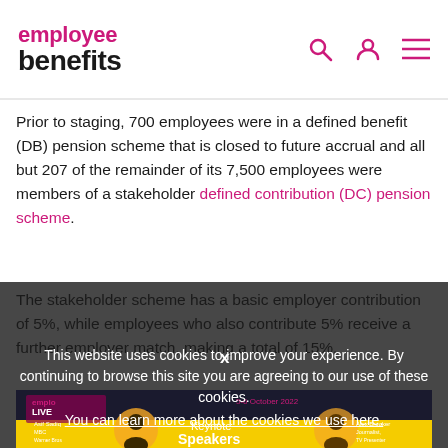employee benefits
Prior to staging, 700 employees were in a defined benefit (DB) pension scheme that is closed to future accrual and all but 207 of the remainder of its 7,500 employees were members of a stakeholder defined contribution (DC) pension scheme.
The stakeholder scheme has a basic employer contribution of 5%, while employees who also contribute 5% receive a further employer match, making a total of 15%.
This website uses cookies to improve your experience. By continuing to browse this site you are agreeing to our use of these cookies.
You can learn more about the cookies we use here.
[Figure (photo): Employee Benefits Live event promotional image showing keynote speakers including Asif Sadiq MBE Warner Bros Discovery and Alex Brooker Journalist, TV Presenter, date 5-6 October 2022, yellow banner with Keynote Speakers text]